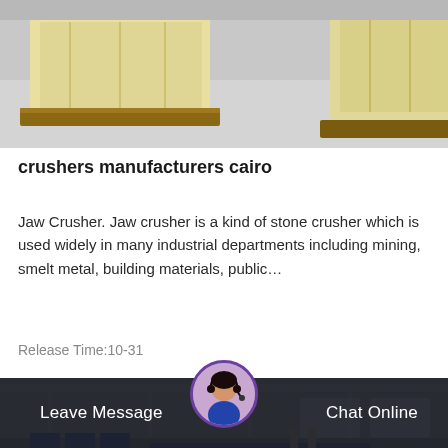[Figure (photo): Industrial crusher equipment shown in a warehouse, pale yellow/cream colored box-shaped machinery on wooden pallets against a grey floor background]
crushers manufacturers cairo
Jaw Crusher. Jaw crusher is a kind of stone crusher which is used widely in many industrial departments including mining, smelt metal, building materials, public…
Release Time:10-31
[Figure (photo): Industrial jaw crusher machinery with large flywheel/pulley wheels in cream and red colors inside a factory building. A banner reads 'The Application System Service Provider'. Multiple large crusher units visible.]
Leave Message
Chat Online